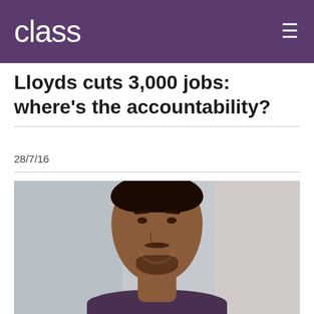class
Lloyds cuts 3,000 jobs: where’s the accountability?
28/7/16
[Figure (photo): Headshot photograph of a young Black man smiling, wearing a dark top, photographed against a light grey/neutral background]